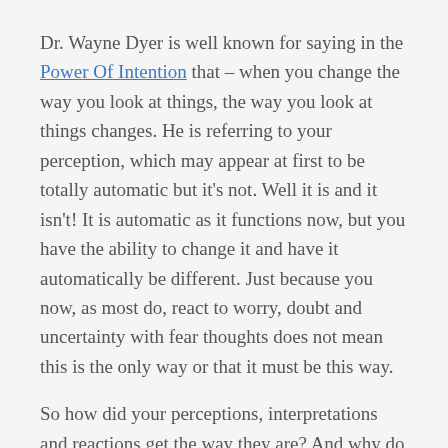Dr. Wayne Dyer is well known for saying in the Power Of Intention that – when you change the way you look at things, the way you look at things changes. He is referring to your perception, which may appear at first to be totally automatic but it's not. Well it is and it isn't! It is automatic as it functions now, but you have the ability to change it and have it automatically be different. Just because you now, as most do, react to worry, doubt and uncertainty with fear thoughts does not mean this is the only way or that it must be this way.
So how did your perceptions, interpretations and reactions get the way they are? And why do it seem that this is just the way they